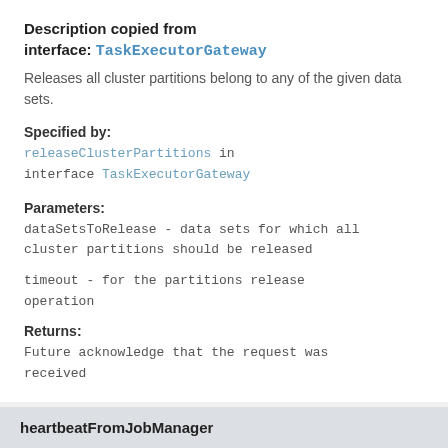Description copied from interface: TaskExecutorGateway
Releases all cluster partitions belong to any of the given data sets.
Specified by:
releaseClusterPartitions in interface TaskExecutorGateway
Parameters:
dataSetsToRelease - data sets for which all cluster partitions should be released
timeout - for the partitions release operation
Returns:
Future acknowledge that the request was received
heartbeatFromJobManager